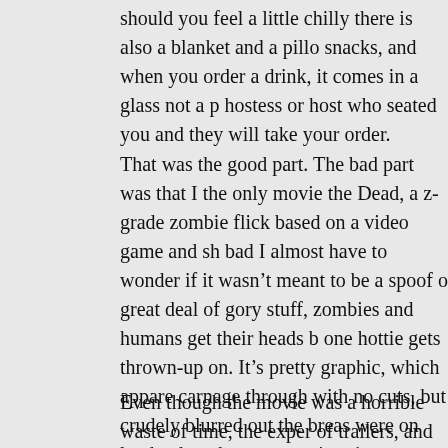should you feel a little chilly there is also a blanket and a pillo snacks, and when you order a drink, it comes in a glass not a p hostess or host who seated you and they will take your order.
That was the good part. The bad part was that I the only movie the Dead, a z-grade zombie flick based on a video game and sh bad I almost have to wonder if it wasn't meant to be a spoof of great deal of gory stuff, zombies and humans get their heads b one hottie gets thrown-up on. It's pretty graphic, which appare carnage through with no cuts, but crudely blurred out the breas were on land, when they were swimming underwater the breas
Even though the movie was a horrible waste of time, the exper of trailers, and several annoying ads, but unlike our movie goi respect to The King," while the national anthem plays. Just lik
Tonight we a trip planned to Pat Pong, a notorious area of tow Khum Patpongpanit. It is probably the most famous red-light d 1960s when dozens of Go-Go bars sprung up here to entertain
To brace ourselves for the gaudy go-go bars of "the Pong" we